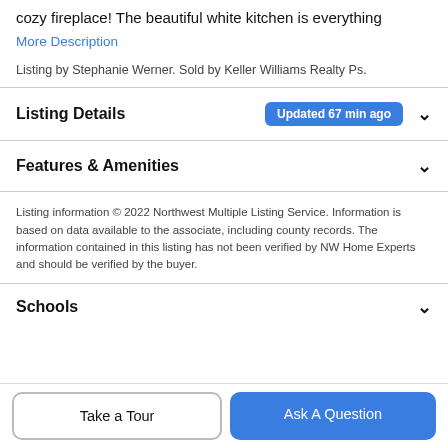cozy fireplace! The beautiful white kitchen is everything
More Description
Listing by Stephanie Werner. Sold by Keller Williams Realty Ps.
Listing Details  Updated 67 min ago
Features & Amenities
Listing information © 2022 Northwest Multiple Listing Service. Information is based on data available to the associate, including county records. The information contained in this listing has not been verified by NW Home Experts and should be verified by the buyer.
Schools
Take a Tour
Ask A Question